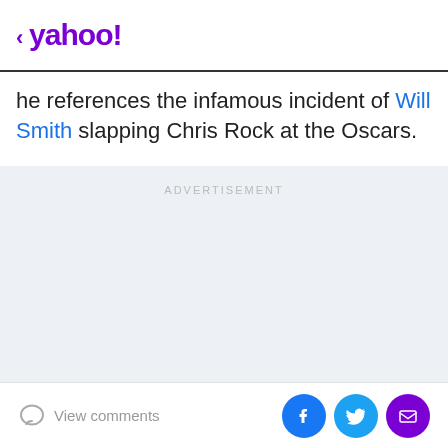< yahoo!
he references the infamous incident of Will Smith slapping Chris Rock at the Oscars.
[Figure (other): Advertisement placeholder area with light blue-grey background and ADVERTISEMENT label]
View comments